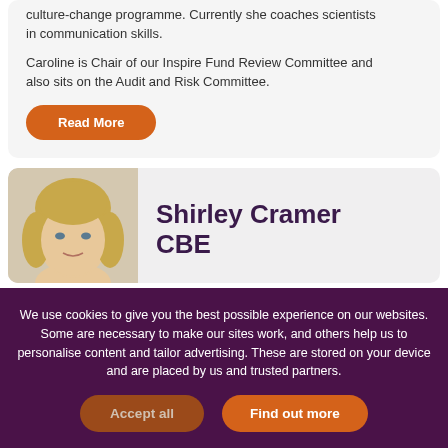culture-change programme. Currently she coaches scientists in communication skills.
Caroline is Chair of our Inspire Fund Review Committee and also sits on the Audit and Risk Committee.
Read More
[Figure (photo): Portrait photo of Shirley Cramer CBE, a woman with blonde hair]
Shirley Cramer CBE
We use cookies to give you the best possible experience on our websites. Some are necessary to make our sites work, and others help us to personalise content and tailor advertising. These are stored on your device and are placed by us and trusted partners.
Accept all
Find out more